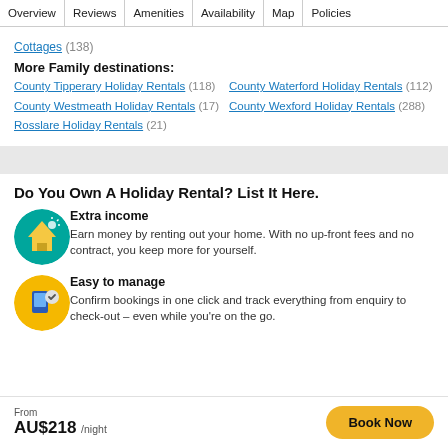Overview | Reviews | Amenities | Availability | Map | Policies
Cottages (138)
More Family destinations:
County Tipperary Holiday Rentals (118)
County Waterford Holiday Rentals (112)
County Westmeath Holiday Rentals (17)
County Wexford Holiday Rentals (288)
Rosslare Holiday Rentals (21)
Do You Own A Holiday Rental? List It Here.
Extra income
Earn money by renting out your home. With no up-front fees and no contract, you keep more for yourself.
Easy to manage
Confirm bookings in one click and track everything from enquiry to check-out – even while you're on the go.
From AU$218 /night  Book Now